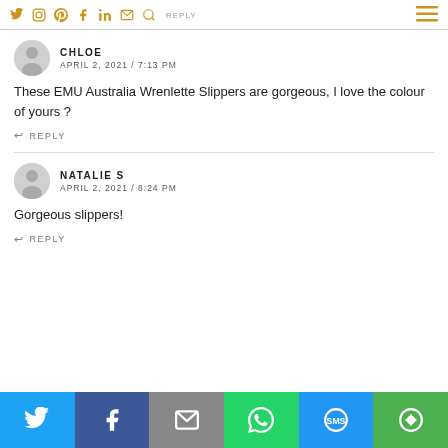Social icons nav bar with Twitter, Instagram, Pinterest, Facebook, LinkedIn, Email, Search icons and hamburger menu. REPLY label visible.
CHLOE
APRIL 2, 2021 / 7:13 PM
These EMU Australia Wrenlette Slippers are gorgeous, I love the colour of yours ?
REPLY
NATALIE S
APRIL 2, 2021 / 8:24 PM
Gorgeous slippers!
REPLY
[Figure (infographic): Social share bar at bottom with Twitter (blue), Facebook (dark blue), Email (gray), WhatsApp (green), SMS (blue), and another share icon (green) buttons.]